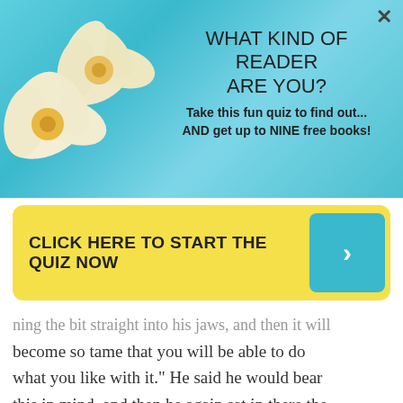[Figure (illustration): Advertisement banner with tropical flowers (plumeria/frangipani) on a teal/turquoise background with a close (X) button in the top right corner and promotional text about a reader quiz offering up to nine free books.]
WHAT KIND OF READER ARE YOU?
Take this fun quiz to find out... AND get up to NINE free books!
CLICK HERE TO START THE QUIZ NOW
ning the bit straight into his jaws, and then it will become so tame that you will be able to do what you like with it." He said he would bear this in mind, and then he again sat in there the